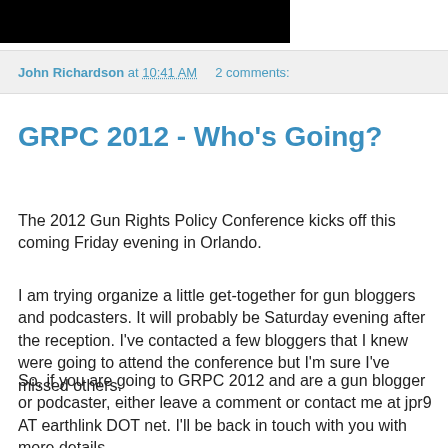[Figure (other): Black redacted/header bar at top of page]
John Richardson at 10:41 AM   2 comments:
GRPC 2012 - Who's Going?
The 2012 Gun Rights Policy Conference kicks off this coming Friday evening in Orlando.
I am trying organize a little get-together for gun bloggers and podcasters. It will probably be Saturday evening after the reception. I've contacted a few bloggers that I knew were going to attend the conference but I'm sure I've missed others.
So, if you are going to GRPC 2012 and are a gun blogger or podcaster, either leave a comment or contact me at jpr9 AT earthlink DOT net. I'll be back in touch with you with more details.